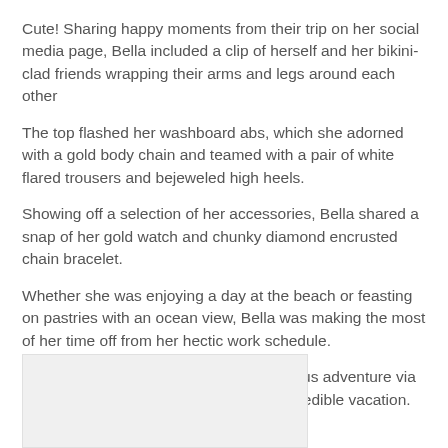Cute! Sharing happy moments from their trip on her social media page, Bella included a clip of herself and her bikini-clad friends wrapping their arms and legs around each other
The top flashed her washboard abs, which she adorned with a gold body chain and teamed with a pair of white flared trousers and bejeweled high heels.
Showing off a selection of her accessories, Bella shared a snap of her gold watch and chunky diamond encrusted chain bracelet.
Whether she was enjoying a day at the beach or feasting on pastries with an ocean view, Bella was making the most of her time off from her hectic work schedule.
Bella kept fans up-to-day on her glamorous adventure via Instagram, posting snippets from her incredible vacation.
[Figure (photo): Partial image visible at the bottom of the page, light gray placeholder box on the left side]